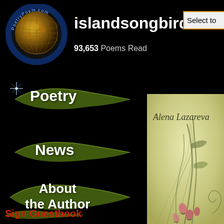[Figure (logo): PoetryPoem.com globe logo with text around it]
islandsongbird
Select to
93,653 Poems Read
[Figure (illustration): Green leaf with sparkle, 'Poetry' navigation button]
[Figure (illustration): Green leaf, 'News' navigation button]
[Figure (illustration): Green leaf, 'About the Author' navigation button]
[Figure (illustration): Green feather/leaf, 'Sign Guestbook' navigation button in red]
[Figure (illustration): Book cover with yellow-green botanical illustration, 'Alena Lazareva' in cursive script, pink flowers and grass stems]